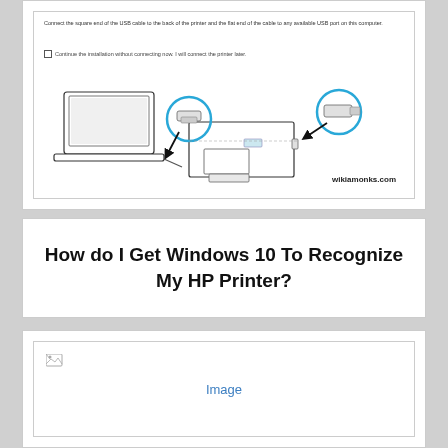[Figure (screenshot): Screenshot of a printer installation dialog showing instructions to connect USB cable from laptop to printer, with a checkbox option to continue without connecting, and a diagram illustrating the USB connection between a laptop and an HP printer with circular callouts on the USB ends. Watermark reads 'wikiamonks.com']
How do I Get Windows 10 To Recognize My HP Printer?
[Figure (photo): Image placeholder with broken image icon on the left and the text 'Image' as a link in the center]